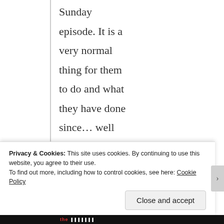Sunday episode. It is a very normal thing for them to do and what they have done since… well since I have been playing the game. (I have over 50,000 screenshots of
Privacy & Cookies: This site uses cookies. By continuing to use this website, you agree to their use.
To find out more, including how to control cookies, see here: Cookie Policy
Close and accept